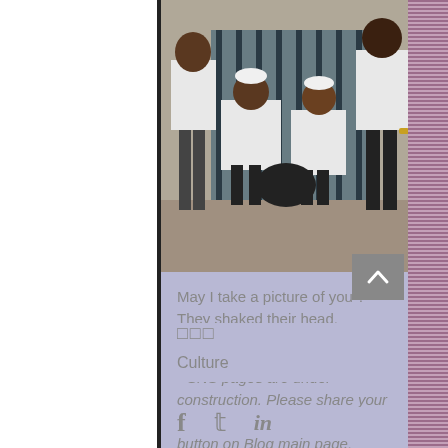[Figure (photo): Photograph of three men wearing white garments and white caps, sitting and standing near a metal gate structure, likely at Churchgate, Mumbai.]
May I take a picture of you ? They shaked their head. (Churchgate,Mumbai)
* SNS pages are under construction. Please share your comments via "Thank you" button on Blog main page.
□□□
Culture
f  𝕥  in